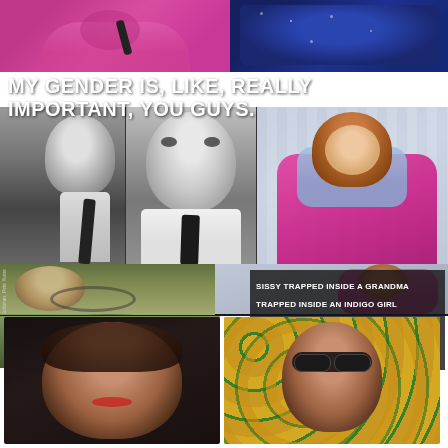[Figure (photo): Collage of fashion/editorial photography featuring multiple subjects in colorful and dramatic outfits]
MY GENDER IS, LIKE, REALLY IMPORTANT, YOU GUYS.
SISSY TRAPPED INSIDE A GRANDMA TRAPPED INSIDE AN INDIGO GIRL TRAPPED INSIDE A DANDY BUTCH TRAPPED INSIDE A DRAG QUEEN TRAPPED INSIDE THE BODY OF A FAG.
Photos: Alexis Lambrou, Emma Goldman, Pete Yorne